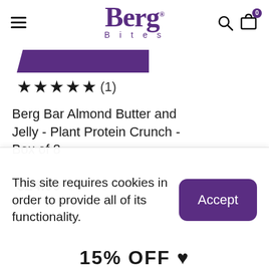[Figure (logo): Berg Bites logo in purple with hamburger menu icon on left, search and cart icons on right]
[Figure (illustration): Purple diagonal parallelogram/bar shape, partially visible product packaging]
★★★★★ (1)
Berg Bar Almond Butter and Jelly - Plant Protein Crunch - Box of 8
$24.99 $29.99
This site requires cookies in order to provide all of its functionality.
Accept
15% OFF ♥